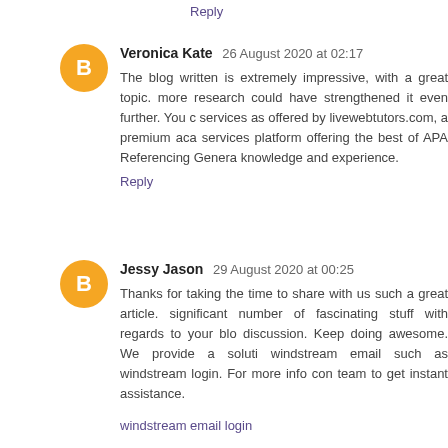Reply
Veronica Kate  26 August 2020 at 02:17
The blog written is extremely impressive, with a great topic. more research could have strengthened it even further. You could services as offered by livewebtutors.com, a premium academic services platform offering the best of APA Referencing Generator knowledge and experience.
Reply
Jessy Jason  29 August 2020 at 00:25
Thanks for taking the time to share with us such a great article. significant number of fascinating stuff with regards to your blog discussion. Keep doing awesome. We provide a solution windstream email such as windstream login. For more info contact team to get instant assistance.
windstream email login
windstream net email login